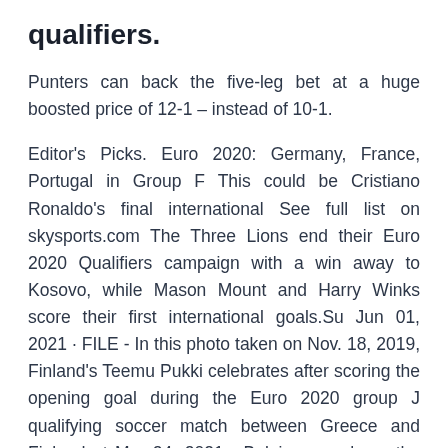qualifiers.
Punters can back the five-leg bet at a huge boosted price of 12-1 – instead of 10-1.
Editor's Picks. Euro 2020: Germany, France, Portugal in Group F This could be Cristiano Ronaldo's final international See full list on skysports.com The Three Lions end their Euro 2020 Qualifiers campaign with a win away to Kosovo, while Mason Mount and Harry Winks score their first international goals.Su Jun 01, 2021 · FILE - In this photo taken on Nov. 18, 2019, Finland's Teemu Pukki celebrates after scoring the opening goal during the Euro 2020 group J qualifying soccer match between Greece and Finland at Mar 24, 2021 · Belgium can have the possibility to book their place at the UEFA euro 2020 after they host San marino at the King Baudouin